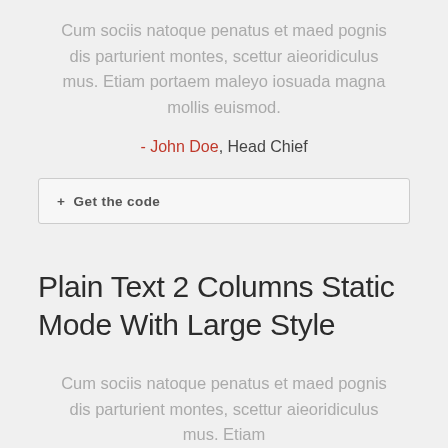Cum sociis natoque penatus et maed pognis dis parturient montes, scettur aieoridiculus mus. Etiam portaem maleyo iosuada magna mollis euismod.
- John Doe, Head Chief
+ Get the code
Plain Text 2 Columns Static Mode With Large Style
Cum sociis natoque penatus et maed pognis dis parturient montes, scettur aieoridiculus mus. Etiam